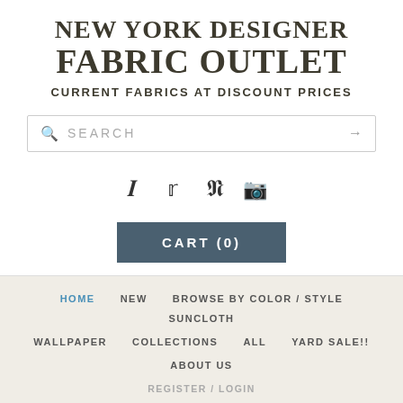NEW YORK DESIGNER FABRIC OUTLET CURRENT FABRICS AT DISCOUNT PRICES
[Figure (other): Search bar with magnifying glass icon and arrow]
[Figure (other): Social media icons: Facebook, Twitter, Pinterest, Instagram]
[Figure (other): CART (0) button in dark teal/blue]
HOME  NEW  BROWSE BY COLOR / STYLE  SUNCLOTH  WALLPAPER  COLLECTIONS  ALL  YARD SALE!!  ABOUT US  REGISTER / LOGIN
LISTING NEW ITEMS DAILY
PLEASE CHECK BACK